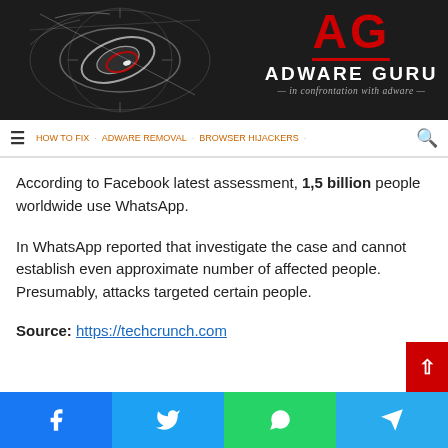[Figure (logo): Adware Guru website header banner with dark background, stylized oval/compass graphic on the left, and AG logo text in red with ADWARE GURU in white and tagline 'in confrontation with adware' on the right]
Navigation bar with hamburger menu, nav links, and search icon
According to Facebook latest assessment, 1,5 billion people worldwide use WhatsApp.
In WhatsApp reported that investigate the case and cannot establish even approximate number of affected people. Presumably, attacks targeted certain people.
Source: https://techcrunch.com